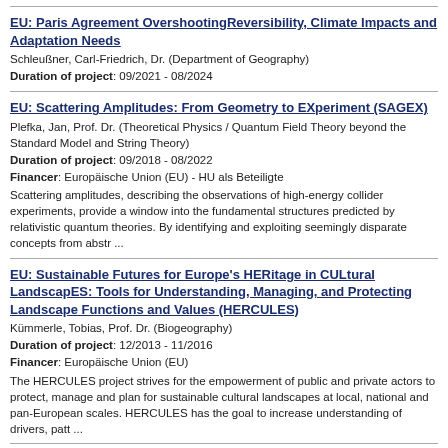EU: Paris Agreement OvershootingReversibility, Climate Impacts and Adaptation Needs
Schleußner, Carl-Friedrich, Dr. (Department of Geography)
Duration of project: 09/2021 - 08/2024
EU: Scattering Amplitudes: From Geometry to EXperiment (SAGEX)
Plefka, Jan, Prof. Dr. (Theoretical Physics / Quantum Field Theory beyond the Standard Model and String Theory)
Duration of project: 09/2018 - 08/2022
Financer: Europäische Union (EU) - HU als Beteiligte
Scattering amplitudes, describing the observations of high-energy collider experiments, provide a window into the fundamental structures predicted by relativistic quantum theories. By identifying and exploiting seemingly disparate concepts from abstr ...
EU: Sustainable Futures for Europe's HERitage in CULtural LandscapES: Tools for Understanding, Managing, and Protecting Landscape Functions and Values (HERCULES)
Kümmerle, Tobias, Prof. Dr. (Biogeography)
Duration of project: 12/2013 - 11/2016
Financer: Europäische Union (EU)
The HERCULES project strives for the empowerment of public and private actors to protect, manage and plan for sustainable cultural landscapes at local, national and pan-European scales. HERCULES has the goal to increase understanding of drivers, patt ...
EU: Ultra-High Charge Carrier Mobility to Elucidate Transport Mechanisms in Molecular Semiconductors (UHMob)